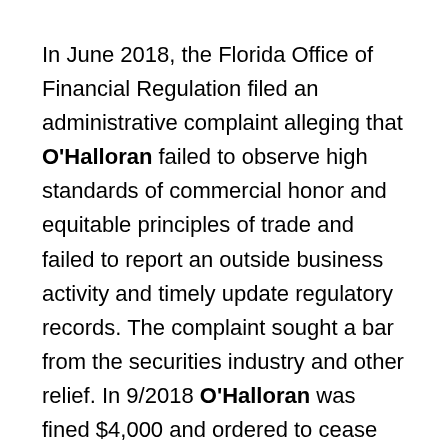In June 2018, the Florida Office of Financial Regulation filed an administrative complaint alleging that O'Halloran failed to observe high standards of commercial honor and equitable principles of trade and failed to report an outside business activity and timely update regulatory records. The complaint sought a bar from the securities industry and other relief. In 9/2018 O'Halloran was fined $4,000 and ordered to cease and desist.
O'Halloran's FINRA record discloses that in 2008 a customer of Kovack Securities awarded over $76,000 by a FINRA arbitration panel to resolve